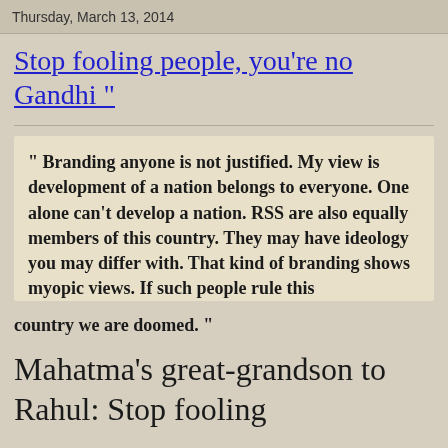Thursday, March 13, 2014
Stop fooling people, you're no Gandhi "
" Branding anyone is not justified. My view is development of a nation belongs to everyone. One alone can't develop a nation. RSS are also equally members of this country. They may have ideology you may differ with. That kind of branding shows myopic views. If such people rule this country we are doomed. "
Mahatma's great-grandson to Rahul: Stop fooling